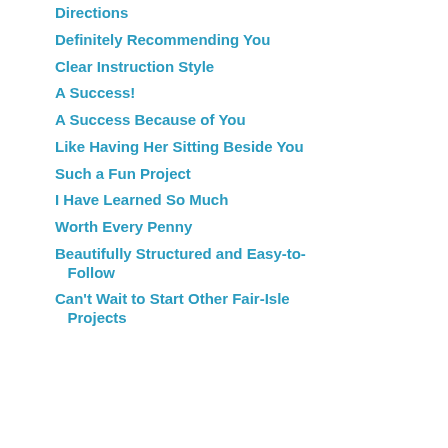Directions
Definitely Recommending You
Clear Instruction Style
A Success!
A Success Because of You
Like Having Her Sitting Beside You
Such a Fun Project
I Have Learned So Much
Worth Every Penny
Beautifully Structured and Easy-to-Follow
Can't Wait to Start Other Fair-Isle Projects